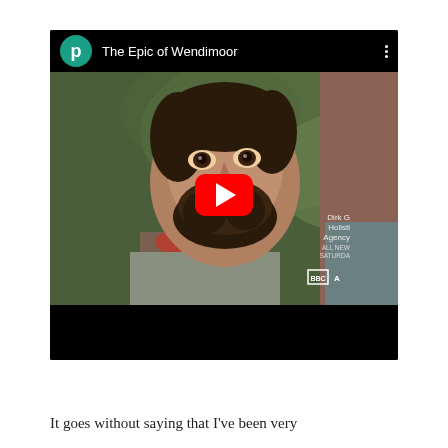[Figure (screenshot): YouTube video embed titled 'The Epic of Wendimoor' showing a still from a TV show (Dirk Gently's Holistic Detective Agency on BBC America) featuring a bearded man in close-up, with a YouTube play button overlay and a channel icon with letter 'p' in teal.]
It goes without saying that I've been very